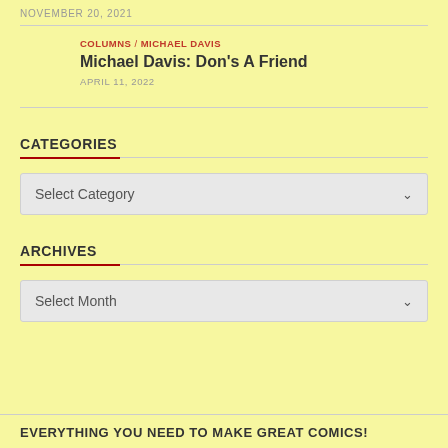NOVEMBER 20, 2021
COLUMNS / MICHAEL DAVIS
Michael Davis: Don's A Friend
APRIL 11, 2022
CATEGORIES
Select Category
ARCHIVES
Select Month
EVERYTHING YOU NEED TO MAKE GREAT COMICS!